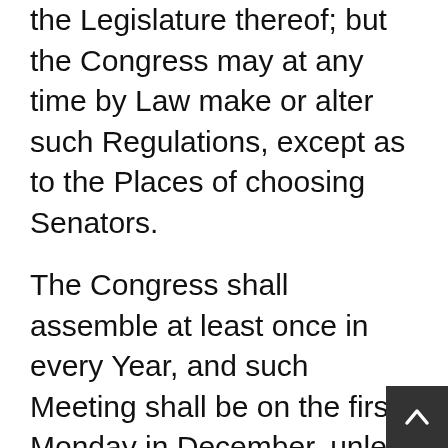the Legislature thereof; but the Congress may at any time by Law make or alter such Regulations, except as to the Places of choosing Senators.
The Congress shall assemble at least once in every Year, and such Meeting shall be on the first Monday in December, unless they shall by Law appoint a different Day.
SECTION 5
Each House shall be the Judge of the Elections, Returns and Qualifications of its own Members, and a Majority of each shall